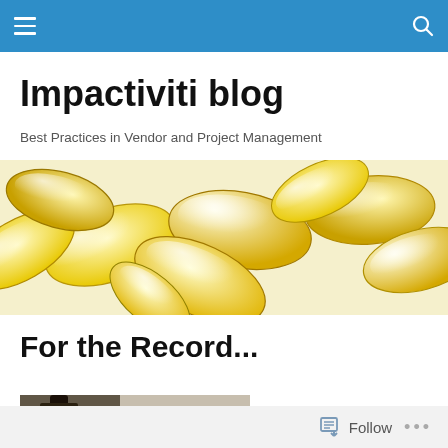Impactiviti blog — navigation bar
Impactiviti blog
Best Practices in Vendor and Project Management
[Figure (photo): Close-up photo of multiple yellow/amber gelatin capsules (gel caps/softgels) scattered together on a light background, filling the full width banner area]
For the Record...
[Figure (photo): Partial thumbnail image, appears to show a dark object (possibly a pen or instrument) against a blurred background]
Follow  •••